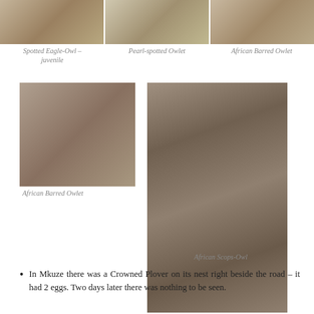[Figure (photo): Spotted Eagle-Owl juvenile perched in tree branches]
[Figure (photo): Pearl-spotted Owlet perched in tree]
[Figure (photo): African Barred Owlet perched in tree]
Spotted Eagle-Owl – juvenile
Pearl-spotted Owlet
African Barred Owlet
[Figure (photo): African Barred Owlet in tree]
African Barred Owlet
[Figure (photo): African Scops-Owl camouflaged against tree bark]
African Scops-Owl
In Mkuze there was a Crowned Plover on its nest right beside the road – it had 2 eggs. Two days later there was nothing to be seen.